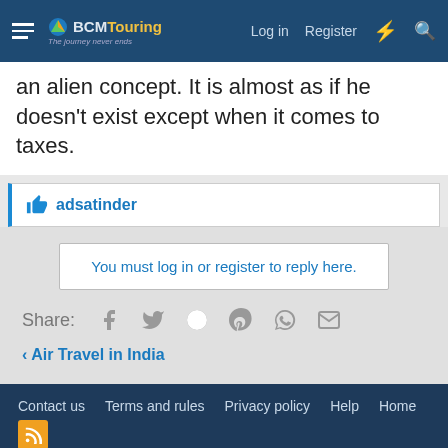BCMTouring – Log in | Register
an alien concept. It is almost as if he doesn't exist except when it comes to taxes.
👍 adsatinder
You must log in or register to reply here.
Share:
< Air Travel in India
Contact us  Terms and rules  Privacy policy  Help  Home
Forum software by XenForo® © 2010-2019 XenForo Ltd. Content Copyright 2006-2019 BCMTouring.com